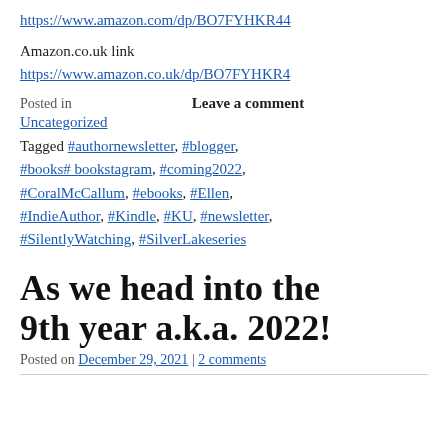https://www.amazon.com/dp/BO7FYHKR44
Amazon.co.uk link
https://www.amazon.co.uk/dp/BO7FYHKR4
Posted in   Leave a comment
Uncategorized
Tagged #authornewsletter, #blogger, #books# bookstagram, #coming2022, #CoralMcCallum, #ebooks, #Ellen, #IndieAuthor, #Kindle, #KU, #newsletter, #SilentlyWatching, #SilverLakeseries
As we head into the 9th year a.k.a. 2022!
Posted on December 29, 2021 | 2 comments